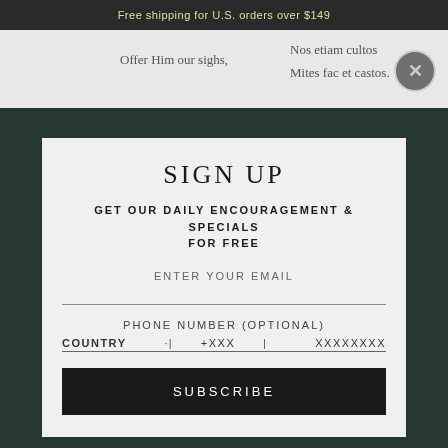Free shipping for U.S. orders over $149
Offer Him our sighs,
Nos etiam cultos
Mites fac et castos.
SIGN UP
GET OUR DAILY ENCOURAGEMENT & SPECIALS FOR FREE
ENTER YOUR EMAIL
PHONE NUMBER (OPTIONAL)
COUNTRY  ·|  +XXX  |  XXXXXXXX
SUBSCRIBE
Still, as on we